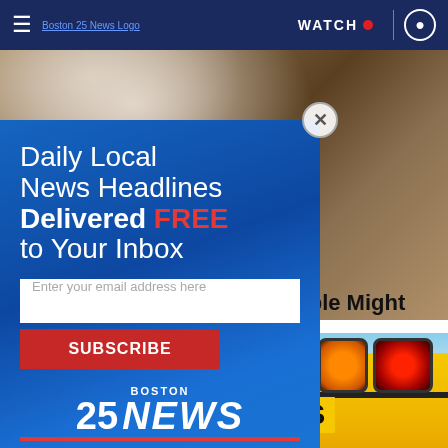Boston 25 News — WATCH
[Figure (screenshot): Boston 25 News website screenshot showing a newsletter subscription modal popup over a news page. The modal has a blue gradient background with text 'Daily Local News Headlines Delivered FREE to Your Inbox', an email input field, a red SUBSCRIBE button, and the Boston 25 News logo. Behind the modal is a food/recipe image (popcorn/wood) and partially visible article headline text 'y People Might'. Below is a school bus image with SCHOOL BUS text and red/orange lights.]
Daily Local News Headlines Delivered FREE to Your Inbox
Enter your email address here
SUBSCRIBE
BOSTON 25 NEWS
y People Might
SCHOOL BUS